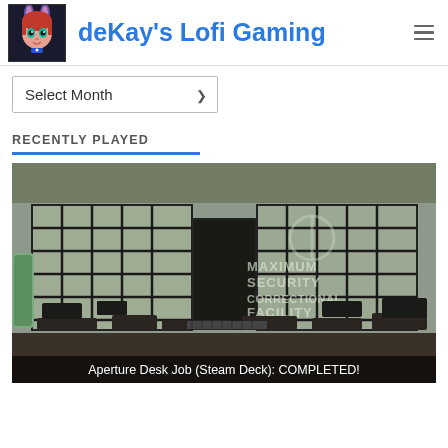deKay's Lofi Gaming
Select Month
RECENTLY PLAYED
[Figure (screenshot): Screenshot of a video game showing a maximum security correctional facility interior with prison bars and a dimly lit room. Caption at bottom reads: Aperture Desk Job (Steam Deck): COMPLETED!]
Aperture Desk Job (Steam Deck): COMPLETED!